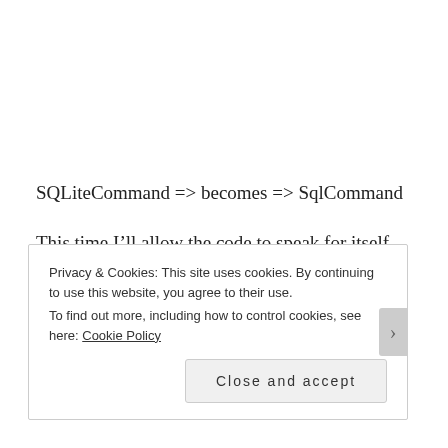SQLiteCommand => becomes => SqlCommand
This time I’ll allow the code to speak for itself, get it here on GitHub.
📂 Uncategorized
Privacy & Cookies: This site uses cookies. By continuing to use this website, you agree to their use.
To find out more, including how to control cookies, see here: Cookie Policy
Close and accept